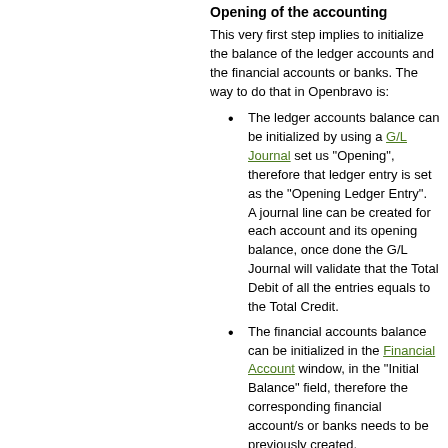Opening of the accounting
This very first step implies to initialize the balance of the ledger accounts and the financial accounts or banks. The way to do that in Openbravo is:
The ledger accounts balance can be initialized by using a G/L Journal set us "Opening", therefore that ledger entry is set as the "Opening Ledger Entry". A journal line can be created for each account and its opening balance, once done the G/L Journal will validate that the Total Debit of all the entries equals to the Total Credit.
The financial accounts balance can be initialized in the Financial Account window, in the "Initial Balance" field, therefore the corresponding financial account/s or banks needs to be previously created.
To learn more about this topic, please review the How to initialize financial balances in Openbravo article.